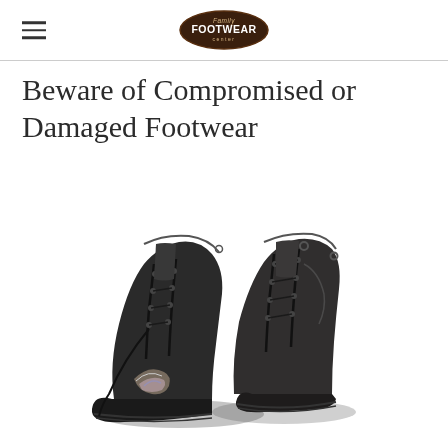Family Footwear Center
Beware of Compromised or Damaged Footwear
[Figure (photo): A pair of heavily worn and damaged black leather lace-up boots with torn uppers and worn-out soles, photographed against a white background.]